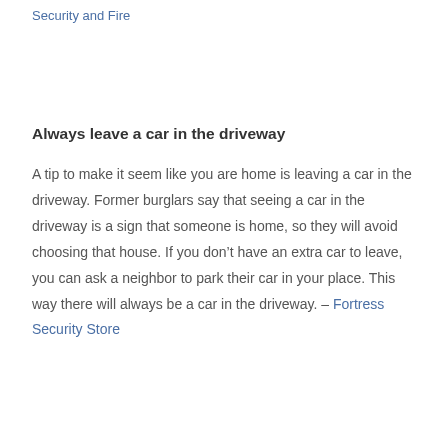Security and Fire
Always leave a car in the driveway
A tip to make it seem like you are home is leaving a car in the driveway. Former burglars say that seeing a car in the driveway is a sign that someone is home, so they will avoid choosing that house. If you don't have an extra car to leave, you can ask a neighbor to park their car in your place. This way there will always be a car in the driveway. – Fortress Security Store